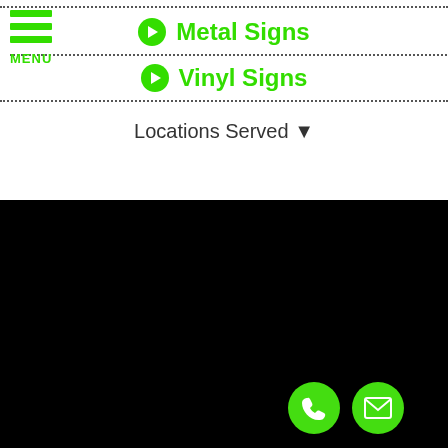[Figure (screenshot): Green hamburger menu icon with three horizontal green bars and MENU label below]
Metal Signs
Vinyl Signs
Locations Served ▾
[Figure (screenshot): Black background section with a green phone button and green mail/envelope button in the bottom right corner]